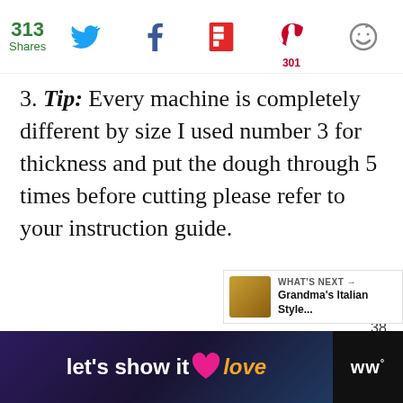313 Shares — social share bar with Twitter, Facebook, Flipboard, Pinterest (301), Save icons
3. Tip: Every machine is completely different by size I used number 3 for thickness and put the dough through 5 times before cutting please refer to your instruction guide.
[Figure (infographic): Heart/like button (teal circle with heart icon), count 38, share button below]
[Figure (infographic): WHAT'S NEXT panel with thumbnail and title Grandma's Italian Style...]
[Figure (infographic): Bottom ad bar: let's show it some love with pink heart, orange love text, and WW logo]